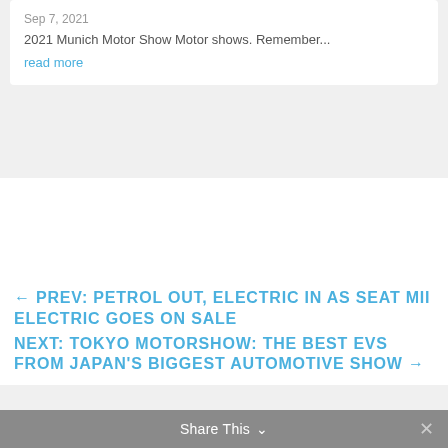Sep 7, 2021
2021 Munich Motor Show Motor shows. Remember...
read more
← PREV: PETROL OUT, ELECTRIC IN AS SEAT MII ELECTRIC GOES ON SALE
NEXT: TOKYO MOTORSHOW: THE BEST EVS FROM JAPAN'S BIGGEST AUTOMOTIVE SHOW →
Share This ∨  ✕